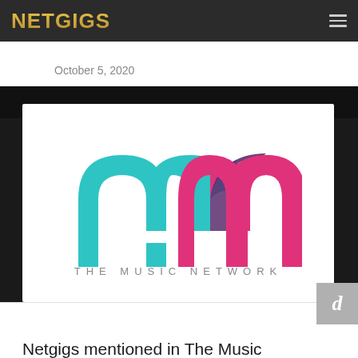NETGIGS
October 5, 2020
[Figure (logo): The Music Network logo — two overlapping 'm' letterforms, one in teal/cyan and one in pink/magenta with a dark purple overlap, above the text 'THE MUSIC NETWORK' in spaced gray capitals.]
Netgigs mentioned in The Music